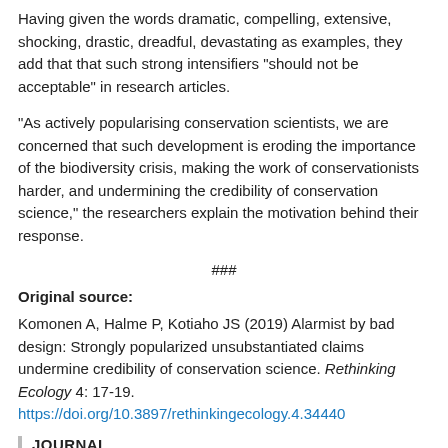Having given the words dramatic, compelling, extensive, shocking, drastic, dreadful, devastating as examples, they add that that such strong intensifiers "should not be acceptable" in research articles.
"As actively popularising conservation scientists, we are concerned that such development is eroding the importance of the biodiversity crisis, making the work of conservationists harder, and undermining the credibility of conservation science," the researchers explain the motivation behind their response.
###
Original source:
Komonen A, Halme P, Kotiaho JS (2019) Alarmist by bad design: Strongly popularized unsubstantiated claims undermine credibility of conservation science. Rethinking Ecology 4: 17-19. https://doi.org/10.3897/rethinkingecology.4.34440
JOURNAL